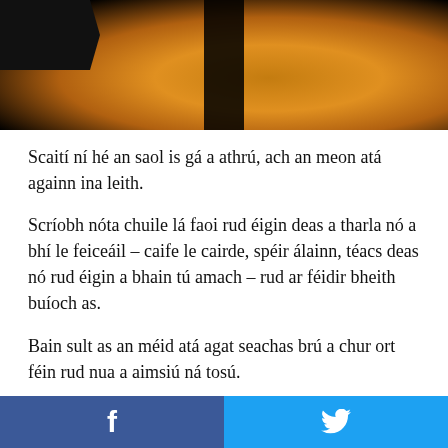[Figure (photo): Header image with dark background and warm amber/orange glow in center-right, with a dark logo shape in top-left corner and a dark vertical block in center]
Scaití ní hé an saol is gá a athrú, ach an meon atá againn ina leith.
Scríobh nóta chuile lá faoi rud éigin deas a tharla nó a bhí le feiceáil – caife le cairde, spéir álainn, téacs deas nó rud éigin a bhain tú amach – rud ar féidir bheith buíoch as.
Bain sult as an méid atá agat seachas brú a chur ort féin rud nua a aimsiú ná tosú.
Agus má bhíonn tú faoi ghruaim riamh,
f  [Facebook icon]  [Twitter icon]